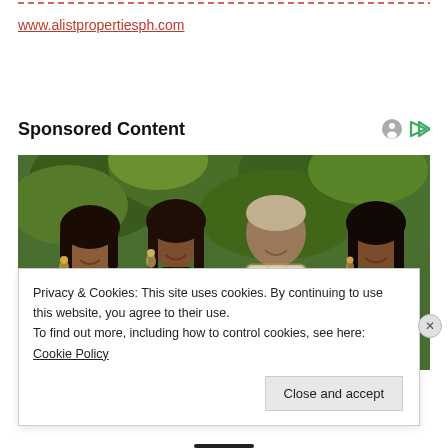www.alistpropertiesph.com
Sponsored Content
[Figure (photo): Family photo of four people — two women, one man, and one young woman — smiling in an outdoor setting with green trees in the background.]
Privacy & Cookies: This site uses cookies. By continuing to use this website, you agree to their use.
To find out more, including how to control cookies, see here: Cookie Policy
Close and accept